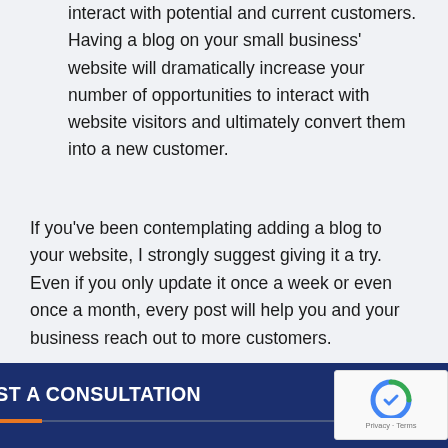interact with potential and current customers. Having a blog on your small business' website will dramatically increase your number of opportunities to interact with website visitors and ultimately convert them into a new customer.
If you've been contemplating adding a blog to your website, I strongly suggest giving it a try. Even if you only update it once a week or even once a month, every post will help you and your business reach out to more customers.
REQUEST A CONSULTATION